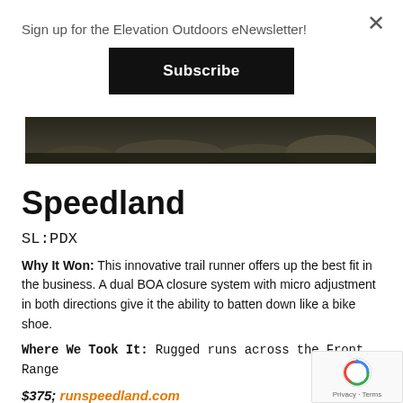Sign up for the Elevation Outdoors eNewsletter!
Subscribe
[Figure (photo): Outdoor landscape hero image showing rocky terrain with moss and dark tones]
Speedland
SL:PDX
Why It Won: This innovative trail runner offers up the best fit in the business. A dual BOA closure system with micro adjustment in both directions give it the ability to batten down like a bike shoe.
Where We Took It: Rugged runs across the Front Range
$375; runspeedland.com